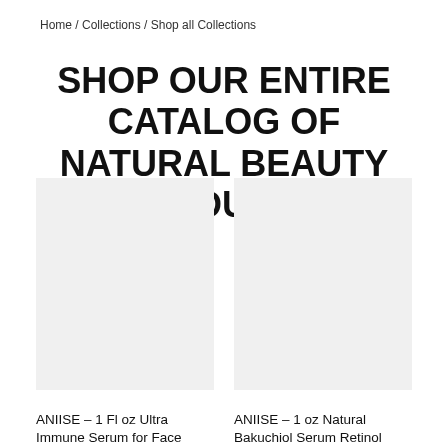Home / Collections / Shop all Collections
SHOP OUR ENTIRE CATALOG OF NATURAL BEAUTY PRODUCTS.
[Figure (photo): Product image placeholder for ANIISE 1 Fl oz Ultra Immune Serum for Face]
ANIISE – 1 Fl oz Ultra Immune Serum for Face
[Figure (photo): Product image placeholder for ANIISE 1 oz Natural Bakuchiol Serum Retinol]
ANIISE – 1 oz Natural Bakuchiol Serum Retinol